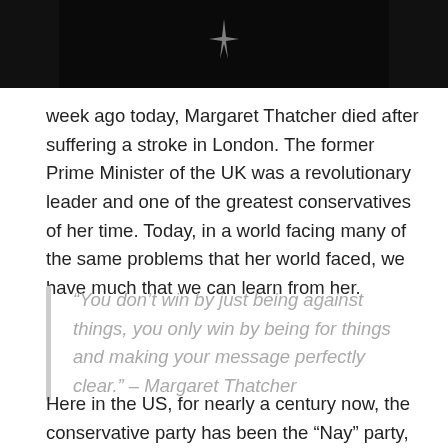[Figure (photo): Dark/black photograph with a faint sparkle or light element visible against a black background]
week ago today, Margaret Thatcher died after suffering a stroke in London. The former Prime Minister of the UK was a revolutionary leader and one of the greatest conservatives of her time. Today, in a world facing many of the same problems that her world faced, we have much that we can learn from her.
“You don’t win by just being against things, you only win by being for things and making your message perfectly clear.” – Margaret Thatcher
Here in the US, for nearly a century now, the conservative party has been the “Nay” party,